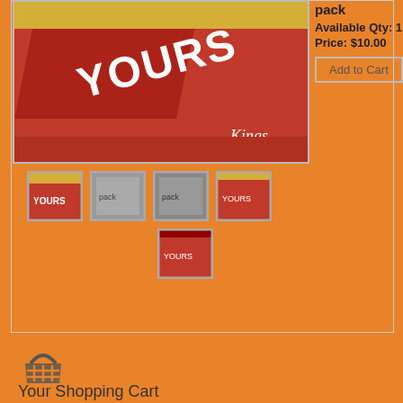[Figure (photo): Main product image of Yours cigarette pack (Kings, Filter Lights), red and gold packaging]
pack
Available Qty: 1
Price: $10.00
[Figure (photo): Thumbnail 1 of Yours cigarette pack]
[Figure (photo): Thumbnail 2 of Yours cigarette pack]
[Figure (photo): Thumbnail 3 of Yours cigarette pack]
[Figure (photo): Thumbnail 4 of Yours cigarette pack]
[Figure (photo): Thumbnail 5 of Yours cigarette pack]
[Figure (illustration): Shopping cart icon]
Your Shopping Cart
Your cart is empty
Visit The Shop
About this pack:
Brand Name: Yours
Filter Lights – Kings
Length: 85mm
Size: 20